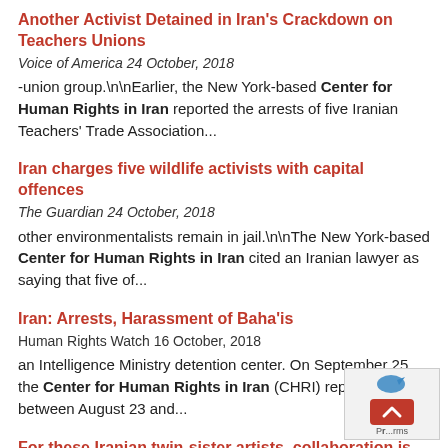Another Activist Detained in Iran's Crackdown on Teachers Unions
Voice of America 24 October, 2018
-union group.\n\nEarlier, the New York-based Center for Human Rights in Iran reported the arrests of five Iranian Teachers' Trade Association...
Iran charges five wildlife activists with capital offences
The Guardian 24 October, 2018
other environmentalists remain in jail.\n\nThe New York-based Center for Human Rights in Iran cited an Iranian lawyer as saying that five of...
Iran: Arrests, Harassment of Baha'is
Human Rights Watch 16 October, 2018
an Intelligence Ministry detention center. On September 25, the Center for Human Rights in Iran (CHRI) reported that between August 23 and...
For these Iranian twin-sister artists, collaboration is "like one person working with her other self"
Global Voices 13 October, 2018
But perhaps it's best to have the sisters talk about it themselves.\n\nnOmid Memarian (OM): You two have been